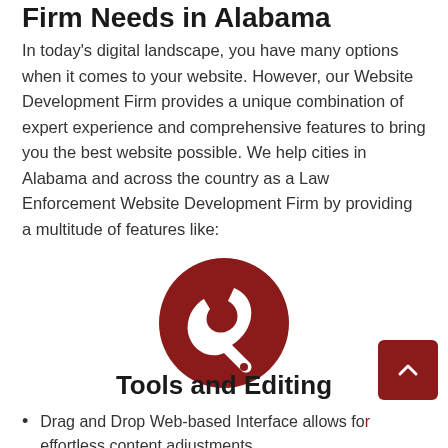Firm Needs in Alabama
In today’s digital landscape, you have many options when it comes to your website. However, our Website Development Firm provides a unique combination of expert experience and comprehensive features to bring you the best website possible. We help cities in Alabama and across the country as a Law Enforcement Website Development Firm by providing a multitude of features like:
[Figure (illustration): Dark red circle with a white wrench/tool icon in the center]
Tools and Editing
Drag and Drop Web-based Interface allows for effortless content adjustments
Unlimited pages with an easy to customize Content